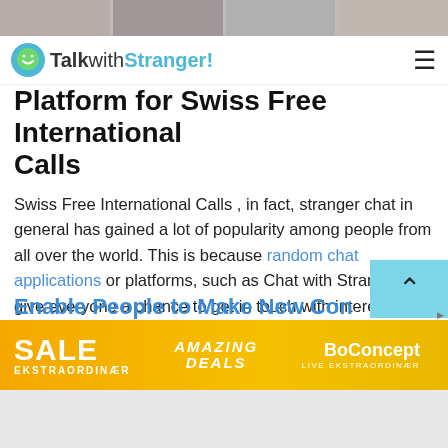[Figure (photo): Top strip of partially visible face/profile photos in a row]
TalkwithStranger!
Platform for Swiss Free International Calls
Swiss Free International Calls , in fact, stranger chat in general has gained a lot of popularity among people from all over the world. This is because random chat applications or platforms, such as Chat with Strangers give everyone a chance to get in touch with interesting as well as attractive people. There are several reasons why Talkwithstranger has seen a spike in the number of users on our platform. The developers of this platform aim to:
[Figure (screenshot): Ad banner: SALE EKSTRAORDINÆR | AMAZING DEALS | BoConcept LIVE EKSTRAORDINÆR on yellow/orange background]